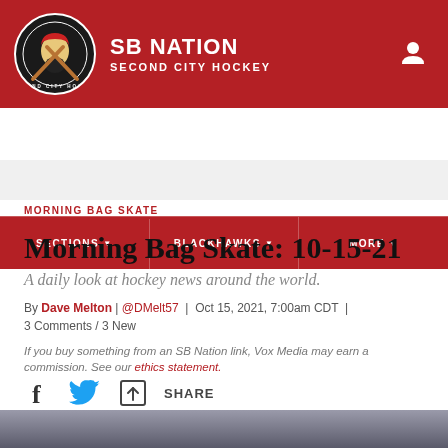SB NATION — SECOND CITY HOCKEY
MORNING BAG SKATE
Morning Bag Skate: 10-15-21
A daily look at hockey news around the world.
By Dave Melton | @DMelt57 | Oct 15, 2021, 7:00am CDT | 3 Comments / 3 New
If you buy something from an SB Nation link, Vox Media may earn a commission. See our ethics statement.
[Figure (other): Social share buttons: Facebook, Twitter, and generic share icon with SHARE label]